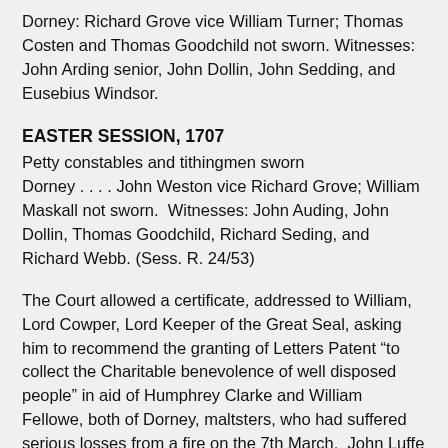Dorney: Richard Grove vice William Turner; Thomas Costen and Thomas Goodchild not sworn. Witnesses: John Arding senior, John Dollin, John Sedding, and Eusebius Windsor.
EASTER SESSION, 1707
Petty constables and tithingmen sworn
Dorney . . . . John Weston vice Richard Grove; William Maskall not sworn.  Witnesses: John Auding, John Dollin, Thomas Goodchild, Richard Seding, and Richard Webb. (Sess. R. 24/53)
The Court allowed a certificate, addressed to William, Lord Cowper, Lord Keeper of the Great Seal, asking him to recommend the granting of Letters Patent “to collect the Charitable benevolence of well disposed people” in aid of Humphrey Clarke and William Fellowe, both of Dorney, maltsters, who had suffered serious losses from a fire on the 7th March.  John Luffe and Samuel Roberts, bricklayers, and Robert Mewes and Thomas Ward, carpenters, certified that the structural damage amounted to £214. 4s. 6d., and Israel Hobbs, John Oliver, and